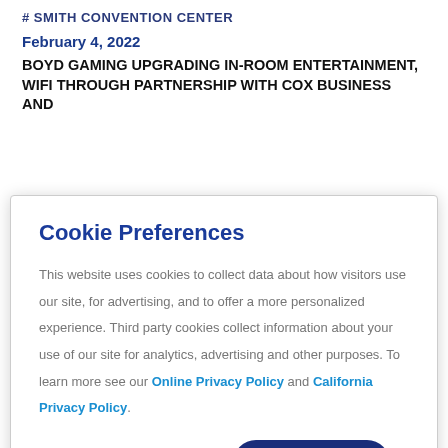# SMITH CONVENTION CENTER
February 4, 2022
BOYD GAMING UPGRADING IN-ROOM ENTERTAINMENT, WIFI THROUGH PARTNERSHIP WITH COX BUSINESS AND
Cookie Preferences
This website uses cookies to collect data about how visitors use our site, for advertising, and to offer a more personalized experience. Third party cookies collect information about your use of our site for analytics, advertising and other purposes. To learn more see our Online Privacy Policy and California Privacy Policy.
Manage Cookies  Accept